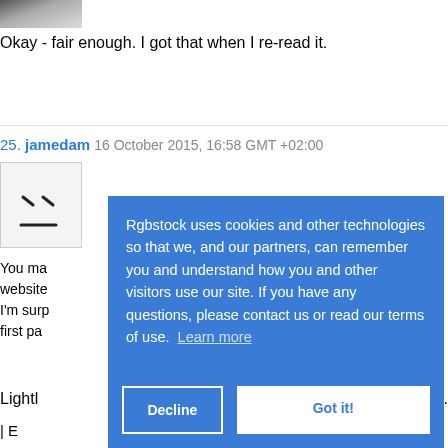[Figure (photo): Partial avatar photo at top left, cropped]
Okay - fair enough. I got that when I re-read it.
25. jamedam 16 October 2015, 16:58 GMT +02:00
[Figure (illustration): Avatar placeholder with angry/neutral face emoticon]
You ma... website... I'm surp... first pa...
Lightl... e.
| E...
Nederlands |
Rgbstock uses cookies and other technologies so that we, and our partners, can remember you and understand how you and other visitors use our site. If you have any questions, please contact us or read our terms of use. Learn more